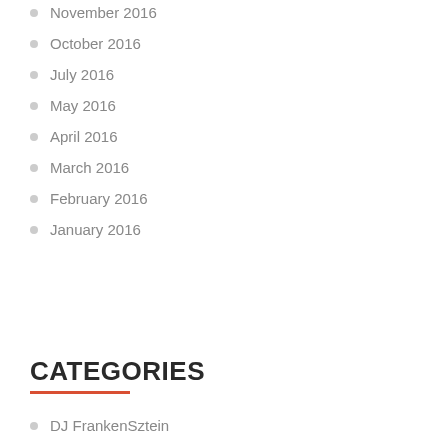November 2016
October 2016
July 2016
May 2016
April 2016
March 2016
February 2016
January 2016
CATEGORIES
DJ FrankenSztein
Great Movies by Shitty Directors